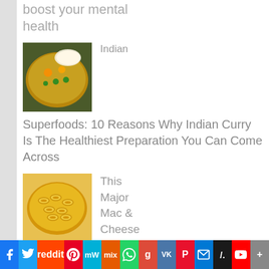boost your mental health
Indian
[Figure (photo): Bowl of Indian curry with vegetables]
Superfoods: 10 Reasons Why Indian Curry Is The Healthiest Preparation You Can Come Across
[Figure (photo): Mac and cheese pasta]
This Major Mac & Cheese Brand Is Being Sued for Toxins Linked to
f  Twitter  reddit  P  mW  mix  WhatsApp  g  VK  P  Outlook  /  YouTube  More